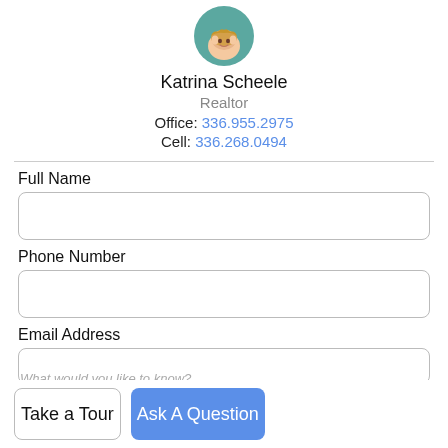[Figure (photo): Circular avatar photo of Katrina Scheele, a woman with blonde hair, against a teal/green background]
Katrina Scheele
Realtor
Office: 336.955.2975
Cell: 336.268.0494
Full Name
Phone Number
Email Address
Take a Tour
Ask A Question
What would you like to know?